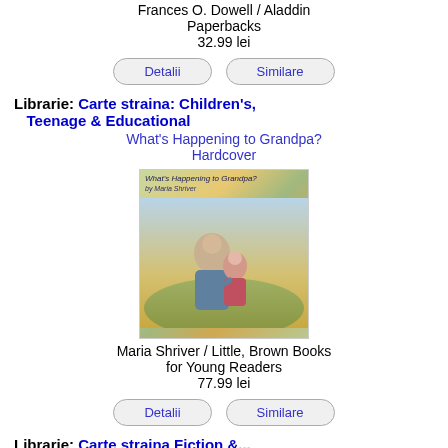Frances O. Dowell / Aladdin Paperbacks
32.99 lei
Detalii
Similare
Librarie: Carte straina: Children's, Teenage & Educational
What's Happening to Grandpa?
Hardcover
[Figure (photo): Book cover of 'What's Happening to Grandpa?' by Maria Shriver, showing an elderly man and a child in a warm illustrated scene]
Maria Shriver / Little, Brown Books for Young Readers
77.99 lei
Detalii
Similare
Librarie: Carte straina Fiction &...